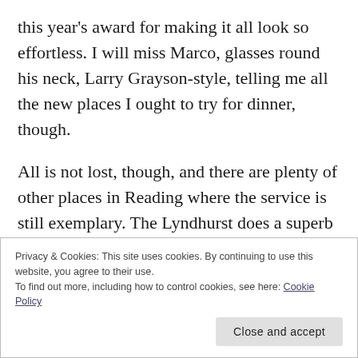this year's award for making it all look so effortless. I will miss Marco, glasses round his neck, Larry Grayson-style, telling me all the new places I ought to try for dinner, though.
All is not lost, though, and there are plenty of other places in Reading where the service is still exemplary. The Lyndhurst does a superb job of looking after diners, with a perfect balance between attentive and relaxed, friendly and formal, and
Privacy & Cookies: This site uses cookies. By continuing to use this website, you agree to their use.
To find out more, including how to control cookies, see here: Cookie Policy
Close and accept